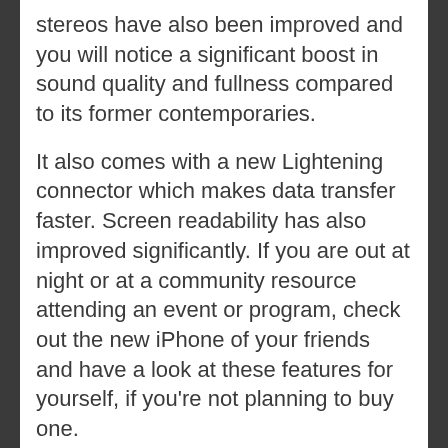stereos have also been improved and you will notice a significant boost in sound quality and fullness compared to its former contemporaries.
It also comes with a new Lightening connector which makes data transfer faster. Screen readability has also improved significantly. If you are out at night or at a community resource attending an event or program, check out the new iPhone of your friends and have a look at these features for yourself, if you're not planning to buy one.
The iPhone 5 also has a faster processor. It comes with an improved camera infrastructure, LTE support, a smaller dock connector and a custom-built A6 chip. Due to its employment of in-cell charging senses for the interface, touch control has become more humanized. To find out more